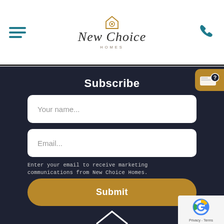[Figure (logo): New Choice Homes logo with house icon and script text]
Subscribe
Your name...
Email...
Enter your email to receive marketing communications from New Choice Homes.
Submit
[Figure (logo): New Choice Homes house outline icon in white at bottom]
[Figure (other): reCAPTCHA Privacy Terms badge in bottom right corner]